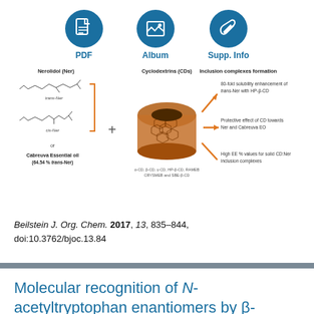[Figure (infographic): Three icon buttons: PDF (document icon), Album (image icon), Supp. Info (paperclip icon), each in a teal/blue circle with labels below in blue text.]
[Figure (infographic): Scientific graphical abstract showing Nerolidol (Ner) including trans-Ner and cis-Ner structures, plus Cabreuva Essential oil (64.54% trans-Ner), combined with Cyclodextrins (CDs) represented as a 3D barrel shape, leading to Inclusion complexes formation with three outcomes: 80-fold solubility enhancement of trans-Ner with HP-β-CD; Protective effect of CD towards Ner and Cabreuva EO; High EE % values for solid CD:Ner inclusion complexes.]
Beilstein J. Org. Chem. 2017, 13, 835–844, doi:10.3762/bjoc.13.84
Molecular recognition of N-acetyltryptophan enantiomers by β-